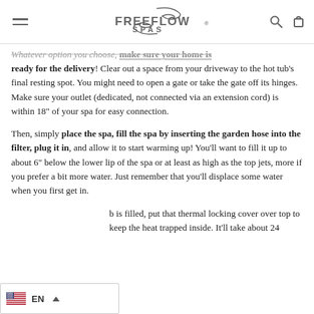FREEFLOW SPAS
Whatever option you choose, make sure your home is ready for the delivery! Clear out a space from your driveway to the hot tub's final resting spot. You might need to open a gate or take the gate off its hinges. Make sure your outlet (dedicated, not connected via an extension cord) is within 18" of your spa for easy connection.
Then, simply place the spa, fill the spa by inserting the garden hose into the filter, plug it in, and allow it to start warming up! You'll want to fill it up to about 6" below the lower lip of the spa or at least as high as the top jets, more if you prefer a bit more water. Just remember that you'll displace some water when you first get in.
...b is filled, put that thermal locking cover over top to keep the heat trapped inside. It'll take about 24